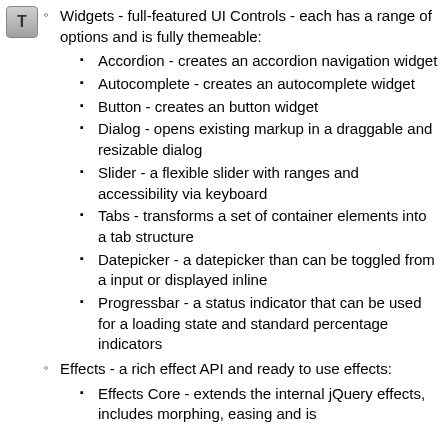[Figure (other): Gray square icon with letter T]
Widgets - full-featured UI Controls - each has a range of options and is fully themeable:
Accordion - creates an accordion navigation widget
Autocomplete - creates an autocomplete widget
Button - creates an button widget
Dialog - opens existing markup in a draggable and resizable dialog
Slider - a flexible slider with ranges and accessibility via keyboard
Tabs - transforms a set of container elements into a tab structure
Datepicker - a datepicker than can be toggled from a input or displayed inline
Progressbar - a status indicator that can be used for a loading state and standard percentage indicators
Effects - a rich effect API and ready to use effects:
Effects Core - extends the internal jQuery effects, includes morphing, easing and is